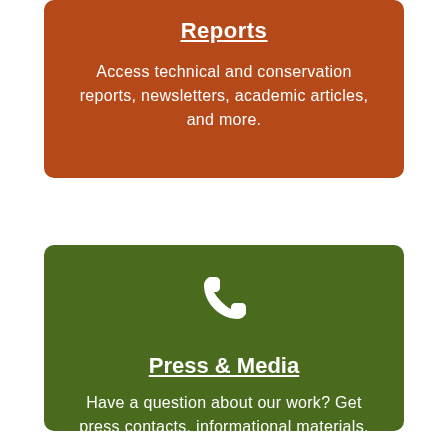Reports
Access technical and conservation reports, newsletters, academic articles, and more.
[Figure (illustration): White phone/telephone handset icon on green background]
Press & Media
Have a question about our work? Get press contacts, informational materials, and more.
[Figure (illustration): Partial view of a white people/group icon on navy blue background at bottom of page]